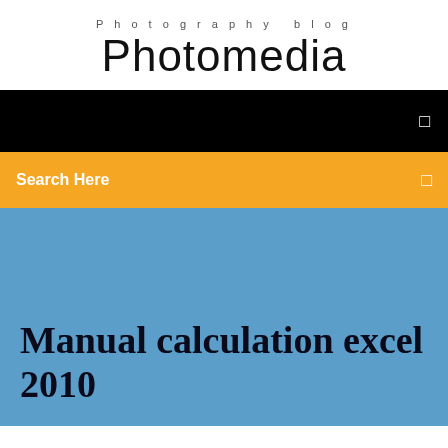Photography blog
Photomedia
[Figure (screenshot): Black navigation bar with a small square icon on the right side]
Search Here
Manual calculation excel 2010